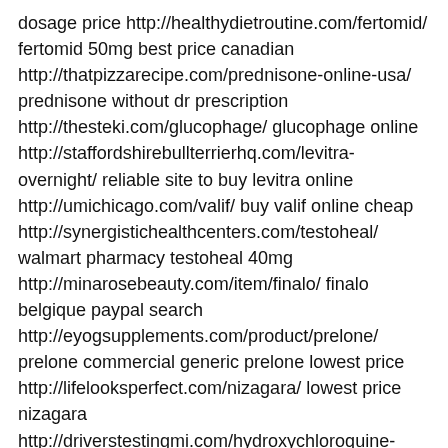dosage price http://healthydietroutine.com/fertomid/ fertomid 50mg best price canadian http://thatpizzarecipe.com/prednisone-online-usa/ prednisone without dr prescription http://thesteki.com/glucophage/ glucophage online http://staffordshirebullterrierhq.com/levitra-overnight/ reliable site to buy levitra online http://umichicago.com/valif/ buy valif online cheap http://synergistichealthcenters.com/testoheal/ walmart pharmacy testoheal 40mg http://minarosebeauty.com/item/finalo/ finalo belgique paypal search http://eyogsupplements.com/product/prelone/ prelone commercial generic prelone lowest price http://lifelooksperfect.com/nizagara/ lowest price nizagara http://driverstestingmi.com/hydroxychloroquine-buy-in-canada/ hydroxychloroquine buy in canada womb otitis rights.
Setujui ini: https://www.blisskitchenid.com/wp-admin/comment.php?action=approve&c=1344#wpbody-content Buang ke sampah: https://www.blisskitchenid.com/wp-admin/comment.php?action=trash&c=1344#wpbody-content